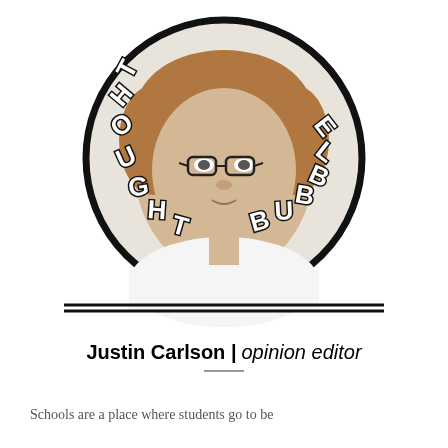[Figure (illustration): Circular graphic with a photo of a young man with glasses wearing a white shirt, with the words 'THOUGHT BUBBLE' arching around the top of the circle in bold outlined letters. A thick horizontal line runs below the circle.]
Justin Carlson | opinion editor
Schools are a place where students go to be